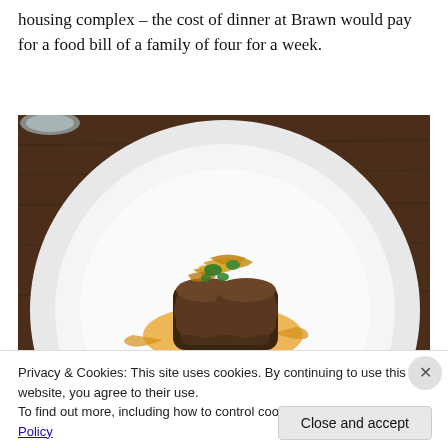housing complex – the cost of dinner at Brawn would pay for a food bill of a family of four for a week.
[Figure (photo): Overhead view of a white plate with a meat dish garnished with crispy shallots and green herbs in an orange sauce, on a dark wooden table with a wooden board visible at the bottom.]
Privacy & Cookies: This site uses cookies. By continuing to use this website, you agree to their use.
To find out more, including how to control cookies, see here: Cookie Policy